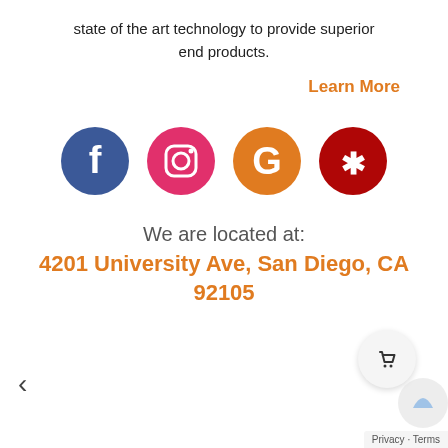state of the art technology to provide superior end products.
Learn More
[Figure (illustration): Four social media icon circles: Facebook (blue), Instagram (pink/magenta), Google (orange), Yelp (dark red)]
We are located at:
4201 University Ave, San Diego, CA 92105
[Figure (illustration): Left navigation arrow chevron]
[Figure (illustration): Shopping cart button circle and reCAPTCHA badge]
Privacy · Terms